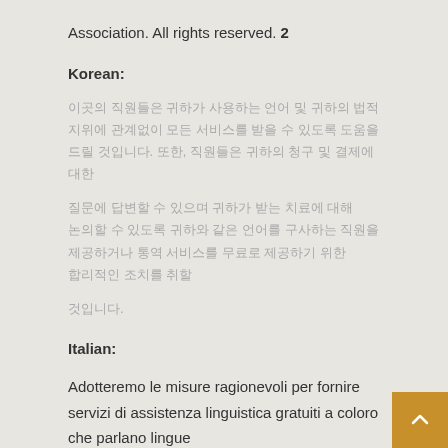Association. All rights reserved. 2
Korean:
이곳의 직원들은 귀하가 사용하는 언어 및 귀하의 법적 지위에 관계없이 모든 서비스를 받을 수 있도록 도움을 드릴 것입니다. 또한, 직원들은 귀하의 청구 및 결제에 대한
질문에 답변할 수 있으며 귀하가 받는 치료에 대해 논의할 수 있도록 귀하와 같은 언어를 구사하는 직원을 제공하거나 통역 서비스를 무료로 제공하기 위한 합리적인 조치를 취할
것입니다.
Italian:
Adotteremo le misure ragionevoli per fornire servizi di assistenza linguistica gratuiti a coloro che parlano lingue
che sentiamo spesso sul posto di lavoro e che non parlano inglese abbastanza bene da poter discutere della cura